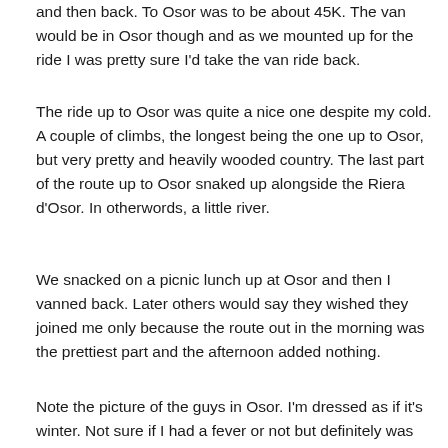and then back. To Osor was to be about 45K. The van would be in Osor though and as we mounted up for the ride I was pretty sure I'd take the van ride back.
The ride up to Osor was quite a nice one despite my cold. A couple of climbs, the longest being the one up to Osor, but very pretty and heavily wooded country. The last part of the route up to Osor snaked up alongside the Riera d'Osor. In otherwords, a little river.
We snacked on a picnic lunch up at Osor and then I vanned back. Later others would say they wished they joined me only because the route out in the morning was the prettiest part and the afternoon added nothing.
Note the picture of the guys in Osor. I'm dressed as if it's winter. Not sure if I had a fever or not but definitely was feeling some chills. My hair's all out of whack. I manage to